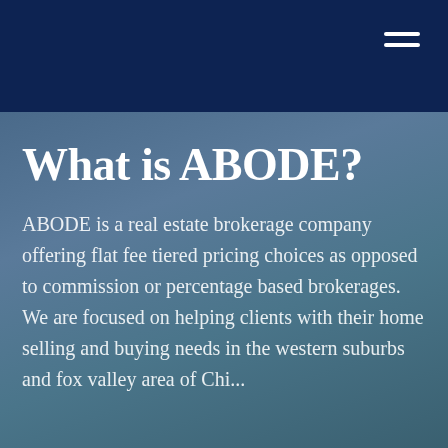What is ABODE?
ABODE is a real estate brokerage company offering flat fee tiered pricing choices as opposed to commission or percentage based brokerages.  We are focused on helping clients with their home selling and buying needs in the western suburbs and fox valley area of Chi...